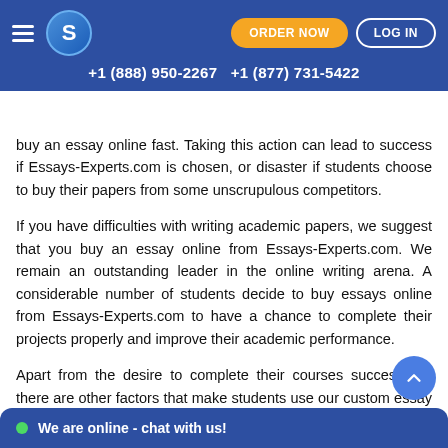+1 (888) 950-2267   +1 (877) 731-5422
buy an essay online fast. Taking this action can lead to success if Essays-Experts.com is chosen, or disaster if students choose to buy their papers from some unscrupulous competitors.
If you have difficulties with writing academic papers, we suggest that you buy an essay online from Essays-Experts.com. We remain an outstanding leader in the online writing arena. A considerable number of students decide to buy essays online from Essays-Experts.com to have a chance to complete their projects properly and improve their academic performance.
Apart from the desire to complete their courses successfully, there are other factors that make students use our custom essay writing service:
No rest. Every student when the extra-heavy